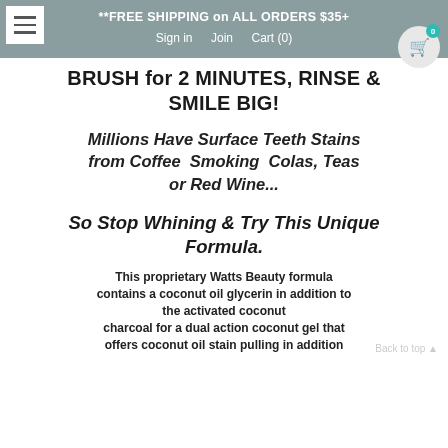**FREE SHIPPING on ALL ORDERS $35+
Sign in  Join  Cart (0)
BRUSH for 2 MINUTES, RINSE & SMILE BIG!
Millions Have Surface Teeth Stains from Coffee  Smoking  Colas, Teas or Red Wine...
So Stop Whining & Try This Unique Formula.
This proprietary Watts Beauty formula contains a coconut oil glycerin in addition to the activated coconut charcoal for a dual action coconut gel that offers coconut oil stain pulling in addition